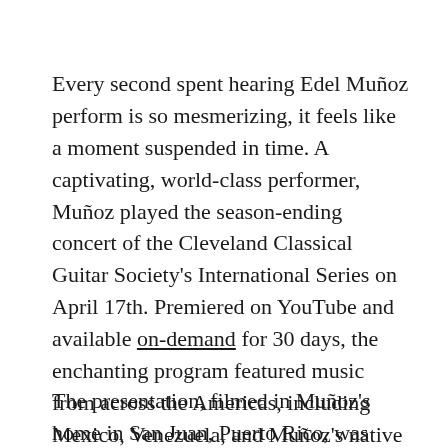Every second spent hearing Edel Muñoz perform is so mesmerizing, it feels like a moment suspended in time. A captivating, world-class performer, Muñoz played the season-ending concert of the Cleveland Classical Guitar Society's International Series on April 17th. Premiered on YouTube and available on-demand for 30 days, the enchanting program featured music from across the Americas, including Mexico, Venezuela, and Muñoz's native Cuba.
The presentation, filmed in Muñoz's home in San Juan, Puerto Rico, was simple and effective